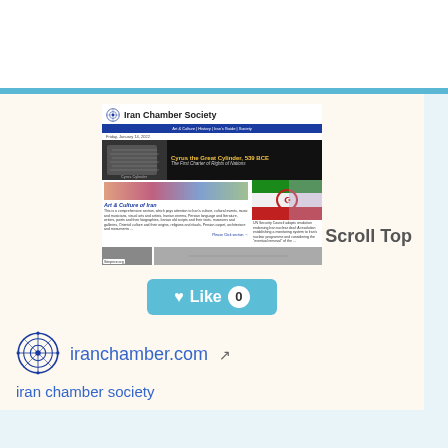[Figure (screenshot): Screenshot of Iran Chamber Society website showing logo, navigation bar, Cyrus the Great Cylinder banner, Art & Culture section, and flags image]
Scroll Top
[Figure (other): Like button with heart icon showing count 0]
[Figure (logo): Iran Chamber Society decorative blue logo/seal]
iranchamber.com
iran chamber society